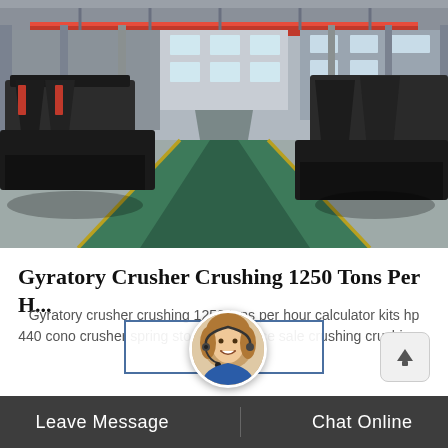[Figure (photo): Industrial factory floor showing a large manufacturing hall with heavy machinery (cone crushers) on both sides, overhead red crane, green-painted floor lane in center, steel columns and windows in background.]
Gyratory Crusher Crushing 1250 Tons Per H...
Gyratory crusher crushing 1250 tons per hour calculator kits hp 440 cono crusher spring stone cone price sale crushing crushing...
[Figure (photo): Customer service representative avatar - woman with headset smiling]
Leave Message   Chat Online